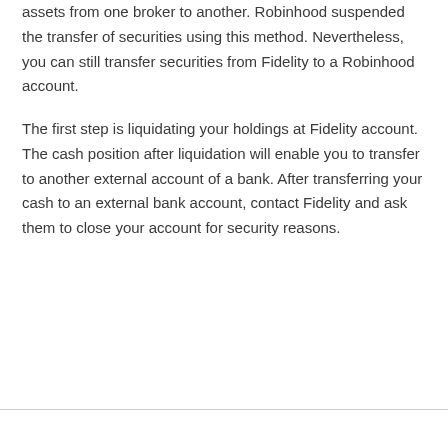assets from one broker to another. Robinhood suspended the transfer of securities using this method. Nevertheless, you can still transfer securities from Fidelity to a Robinhood account.
The first step is liquidating your holdings at Fidelity account. The cash position after liquidation will enable you to transfer to another external account of a bank. After transferring your cash to an external bank account, contact Fidelity and ask them to close your account for security reasons.